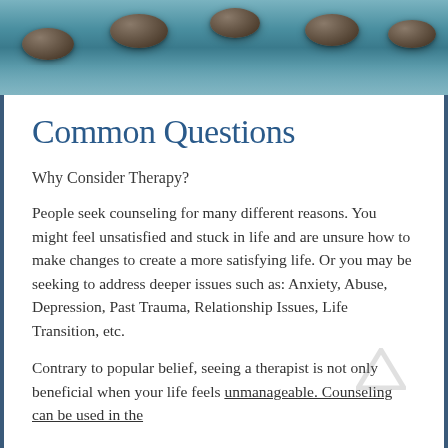[Figure (photo): Stepping stones on calm water with teal/blue water background]
Common Questions
Why Consider Therapy?
People seek counseling for many different reasons. You might feel unsatisfied and stuck in life and are unsure how to make changes to create a more satisfying life. Or you may be seeking to address deeper issues such as: Anxiety, Abuse, Depression, Past Trauma, Relationship Issues, Life Transition, etc.
Contrary to popular belief, seeing a therapist is not only beneficial when your life feels unmanageable. Counseling can be used in the